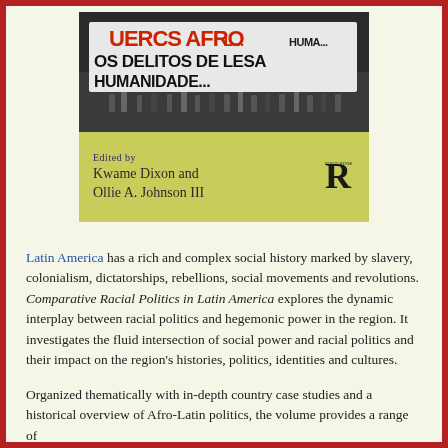[Figure (photo): Book cover image: top half shows a protest photo with a banner reading 'OS DELITOS DE LESA HUMANIDADE' and other text; bottom half shows a light green background with editors' names 'Edited by Kwame Dixon and Ollie A. Johnson III' and the Routledge logo.]
Latin America has a rich and complex social history marked by slavery, colonialism, dictatorships, rebellions, social movements and revolutions. Comparative Racial Politics in Latin America explores the dynamic interplay between racial politics and hegemonic power in the region. It investigates the fluid intersection of social power and racial politics and their impact on the region's histories, politics, identities and cultures.
Organized thematically with in-depth country case studies and a historical overview of Afro-Latin politics, the volume provides a range of